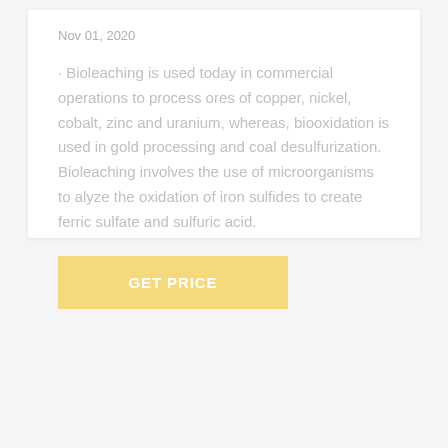Nov 01, 2020
Bioleaching is used today in commercial operations to process ores of copper, nickel, cobalt, zinc and uranium, whereas, biooxidation is used in gold processing and coal desulfurization. Bioleaching involves the use of microorganisms to alyze the oxidation of iron sulfides to create ferric sulfate and sulfuric acid.
GET PRICE